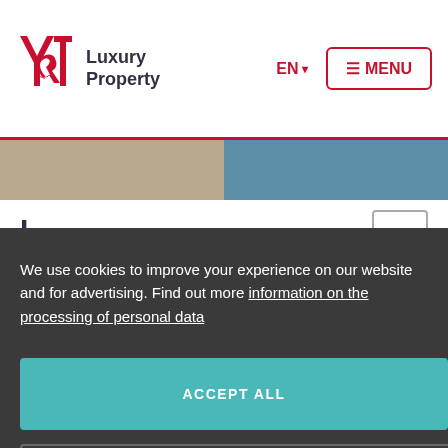[Figure (logo): Y&T Luxury Property logo with red ampersand symbol and dark text]
EN ▾
≡ MENU
[Figure (photo): Two partial property photos side by side — beige/tan on left, blue/teal on right]
I...
We use cookies to improve your experience on our website and for advertising. Find out more information on the processing of personal data
ACCEPT ALL
MANAGE COOKIES